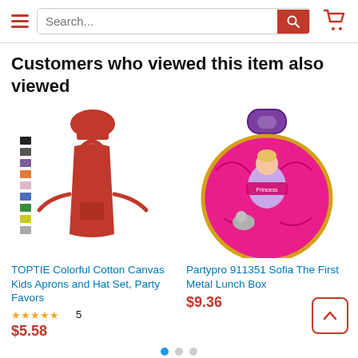[Figure (screenshot): Website header with hamburger menu, search bar with red search button, and red shopping cart icon]
Customers who viewed this item also viewed
[Figure (photo): Red kids apron and chef hat set with color swatches on the left]
TOPTIE Colorful Cotton Canvas Kids Aprons and Hat Set, Party Favors
★★★★★ 5
$5.58
[Figure (photo): Partypro Sofia The First round pink metal lunch box with purple handle]
Partypro 911351 Sofia The First Metal Lunch Box
$9.36
[Figure (other): Carousel dots: blue (active), gray, gray]